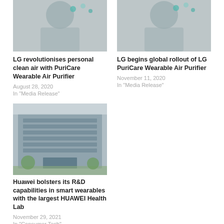[Figure (photo): Partial cropped photo of person wearing mask/air purifier, gray tones]
LG revolutionises personal clean air with PuriCare Wearable Air Purifier
August 28, 2020
In "Media Release"
[Figure (photo): Partial cropped photo of person wearing mask/air purifier, gray tones]
LG begins global rollout of LG PuriCare Wearable Air Purifier
November 11, 2020
In "Media Release"
[Figure (photo): Photo of Huawei building exterior, glass facade, trees in foreground]
Huawei bolsters its R&D capabilities in smart wearables with the largest HUAWEI Health Lab
November 29, 2021
In "Consumer Tech"
Tagged with La Roche-Posay, Sunscreen, Wearable tech